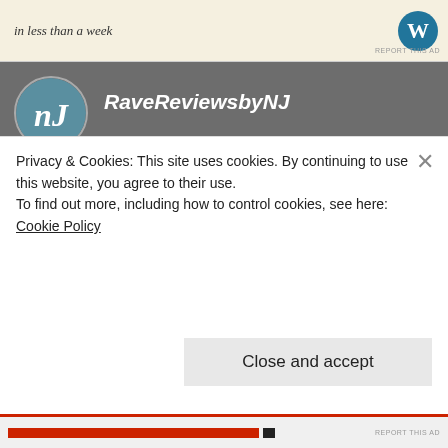[Figure (other): Advertisement banner with italic text 'in less than a week' and WordPress logo]
REPORT THIS AD
RaveReviewsbyNJ
OCTOBER 17, 2020 AT 12:38 PM
Hi, Phil! Altar Boy is on my list of books to be read! Sounds like such a good story!

Have fun today!
Privacy & Cookies: This site uses cookies. By continuing to use this website, you agree to their use.
To find out more, including how to control cookies, see here: Cookie Policy
Close and accept